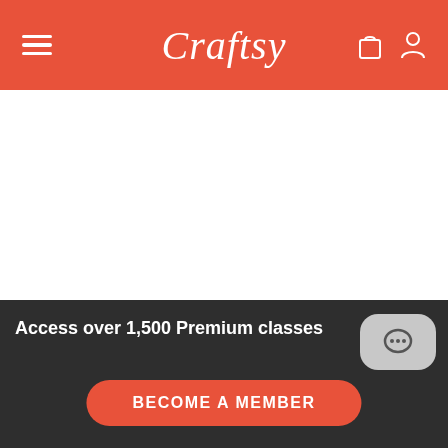Craftsy
Sew the hood band pieces together, right sides facing, along the short end. Press the seam allowance.
Access over 1,500 Premium classes
BECOME A MEMBER